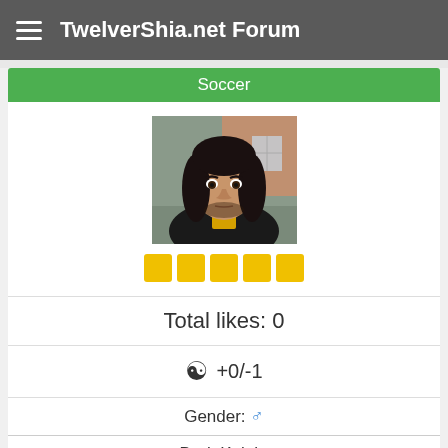TwelverShia.net Forum
Soccer
[Figure (photo): Profile photo of a man with long dark hair wearing a black jacket over a yellow shirt, standing outdoors near a brick building]
Total likes: 0
+0/-1
Gender: ♂
Dark Knight
Religion: Shia